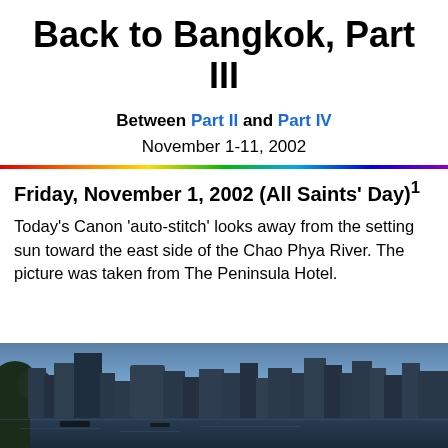Back to Bangkok, Part III
Between Part II and Part IV
November 1-11, 2002
Friday, November 1, 2002 (All Saints' Day)1
Today's Canon 'auto-stitch' looks away from the setting sun toward the east side of the Chao Phya River. The picture was taken from The Peninsula Hotel.
[Figure (photo): Panoramic photo of the Bangkok skyline viewed from The Peninsula Hotel, showing the east side of the Chao Phya River at dusk/twilight with city buildings silhouetted against a blue sky.]